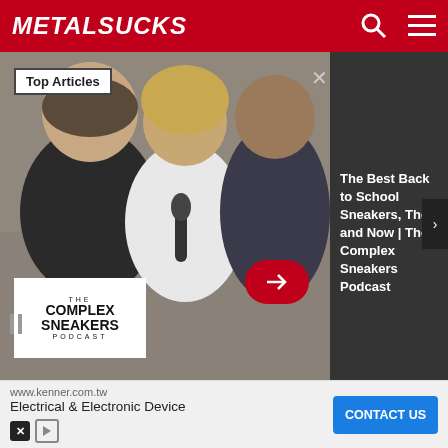MetalSucks
[Figure (screenshot): Podcast video overlay: The Complex Sneakers Podcast with three men, plus a sneaker thumbnail on left, with 'Top Articles' badge, red arrow button, and complex sneakers podcast logo overlay panel. Right panel shows text: 'The Best Back to School Sneakers, Then and Now | The Complex Sneakers Podcast']
band-feud, but Tommy & I have spoken. We've heard each other, & that's what this time should be about. Listening to one another. If he & I can disagree & be in a band together, then we as a country or society can find a way to find common ground despite ideological differences. But we can't do that if we are talking past each other. I'm not...to
[Figure (screenshot): Bottom advertisement bar: www.kenner.com.tw - Electrical & Electronic Device - CONTACT US button in blue]